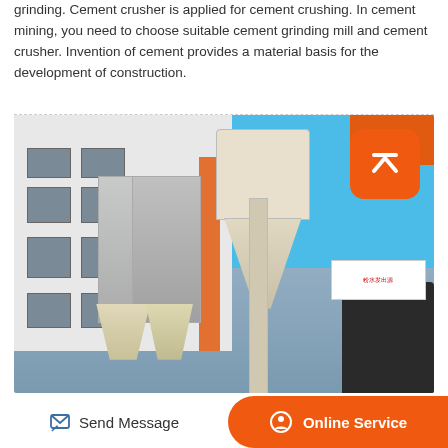grinding. Cement crusher is applied for cement crushing. In cement mining, you need to choose suitable cement grinding mill and cement crusher. Invention of cement provides a material basis for the development of construction.
[Figure (photo): Industrial cement grinding mill facility showing dust collector filters (fabric bag type), cyclone separators, and orange metal scaffolding structure against a white tiled building backdrop with blue sky. Orange circular back-to-top button overlay in upper right corner.]
Send Message
Online Service